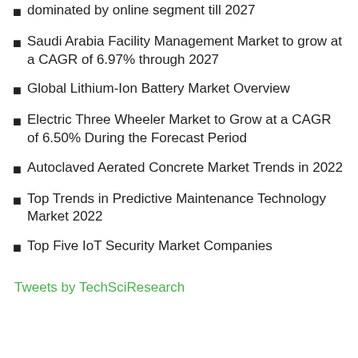dominated by online segment till 2027
Saudi Arabia Facility Management Market to grow at a CAGR of 6.97% through 2027
Global Lithium-Ion Battery Market Overview
Electric Three Wheeler Market to Grow at a CAGR of 6.50% During the Forecast Period
Autoclaved Aerated Concrete Market Trends in 2022
Top Trends in Predictive Maintenance Technology Market 2022
Top Five IoT Security Market Companies
Tweets by TechSciResearch